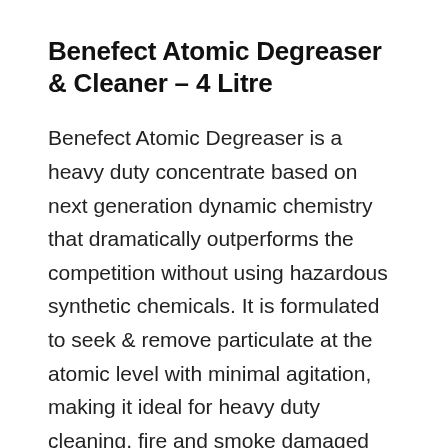Benefect Atomic Degreaser & Cleaner – 4 Litre
Benefect Atomic Degreaser is a heavy duty concentrate based on next generation dynamic chemistry that dramatically outperforms the competition without using hazardous synthetic chemicals. It is formulated to seek & remove particulate at the atomic level with minimal agitation, making it ideal for heavy duty cleaning, fire and smoke damaged contents and surfaces, trauma scenes, commercial kitchens and other